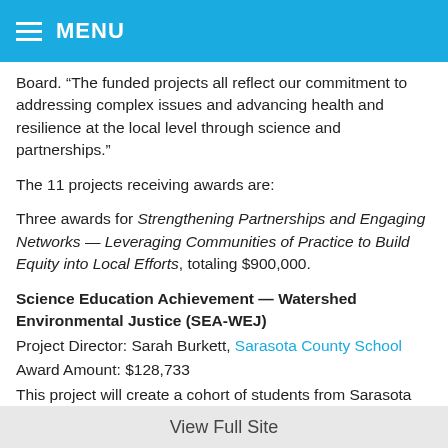MENU
Board. “The funded projects all reflect our commitment to addressing complex issues and advancing health and resilience at the local level through science and partnerships.”
The 11 projects receiving awards are:
Three awards for Strengthening Partnerships and Engaging Networks — Leveraging Communities of Practice to Build Equity into Local Efforts, totaling $900,000.
Science Education Achievement — Watershed Environmental Justice (SEA-WEJ)
Project Director: Sarah Burkett, Sarasota County School
Award Amount: $128,733
This project will create a cohort of students from Sarasota County Schools that begins their high school science experience with a focus on how the environmental health of their
View Full Site